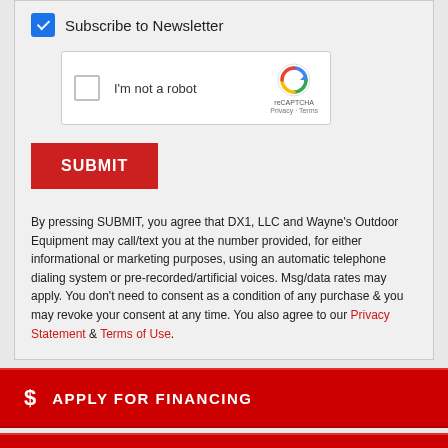Subscribe to Newsletter
[Figure (screenshot): reCAPTCHA widget with checkbox 'I'm not a robot' and reCAPTCHA logo with Privacy and Terms links]
SUBMIT
By pressing SUBMIT, you agree that DX1, LLC and Wayne's Outdoor Equipment may call/text you at the number provided, for either informational or marketing purposes, using an automatic telephone dialing system or pre-recorded/artificial voices. Msg/data rates may apply. You don't need to consent as a condition of any purchase & you may revoke your consent at any time. You also agree to our Privacy Statement & Terms of Use.
$ APPLY FOR FINANCING
CALCULATE PAYMENT
COMPARE MODELS